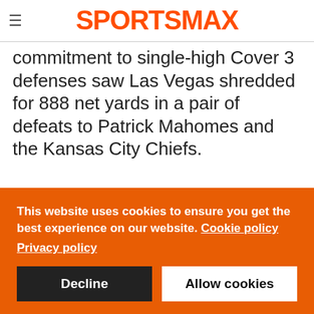SPORTSMAX
commitment to single-high Cover 3 defenses saw Las Vegas shredded for 888 net yards in a pair of defeats to Patrick Mahomes and the Kansas City Chiefs.
This website uses cookies to ensure you get the best experience on our website. Cookie policy
Privacy policy
Decline  Allow cookies